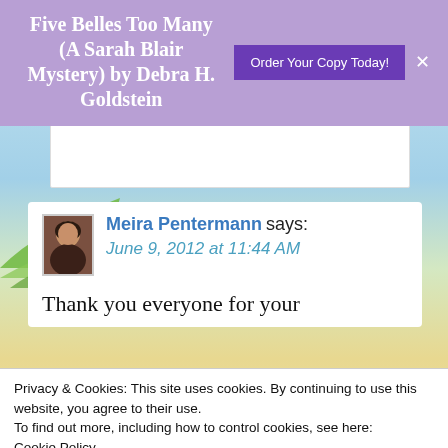Five Belles Too Many (A Sarah Blair Mystery) by Debra H. Goldstein
Order Your Copy Today!
Meira Pentermann says: June 9, 2012 at 11:44 AM
Thank you everyone for your
Privacy & Cookies: This site uses cookies. By continuing to use this website, you agree to their use.
To find out more, including how to control cookies, see here:
Cookie Policy
Close and accept